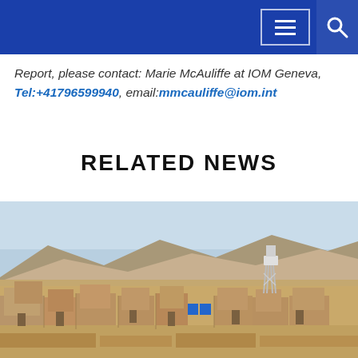Navigation bar with menu and search icons
Report, please contact: Marie McAuliffe at IOM Geneva, Tel:+41796599940, email:mmcauliffe@iom.int
RELATED NEWS
[Figure (photo): Aerial view of a desert mud-brick town or refugee settlement with mountains in the background, a white water tower visible, and a few blue containers among the earthen structures under a pale blue sky.]